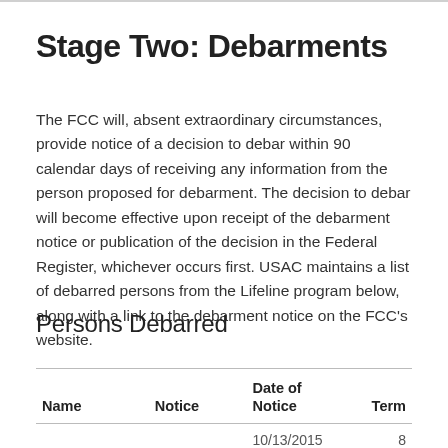Stage Two: Debarments
The FCC will, absent extraordinary circumstances, provide notice of a decision to debar within 90 calendar days of receiving any information from the person proposed for debarment. The decision to debar will become effective upon receipt of the debarment notice or publication of the decision in the Federal Register, whichever occurs first. USAC maintains a list of debarred persons from the Lifeline program below, along with a link to the debarment notice on the FCC's website.
Persons Debarred
| Name | Notice | Date of Notice | Term |
| --- | --- | --- | --- |
|  |  | 10/13/2015 | 8 |